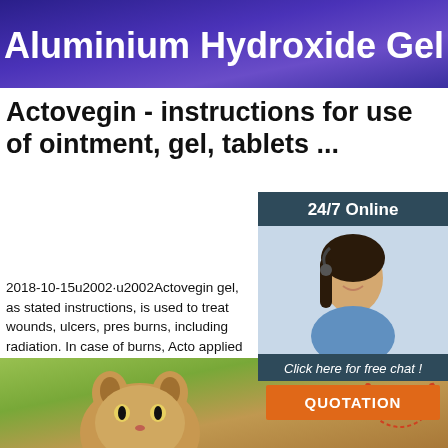[Figure (illustration): Dark purple/blue banner with white bold text reading 'Aluminium Hydroxide Gel']
Actovegin - instructions for use of ointment, gel, tablets ...
[Figure (photo): Sidebar with dark teal background showing '24/7 Online' header, a woman with headset smiling, 'Click here for free chat!' text, and an orange QUOTATION button]
2018-10-15u2002·u2002Actovegin gel, as stated instructions, is used to treat wounds, ulcers, pres burns, including radiation. In case of burns, Acto applied in a thin layer, in case of ulcers – thick, a with a bandage. The dressing should be changed with bedsores – 3-4 times a day.
[Figure (illustration): Green button with white text 'Get Price']
[Figure (photo): Bottom image showing a cat or animal face on green/yellow background with a TOP badge in the upper right corner]